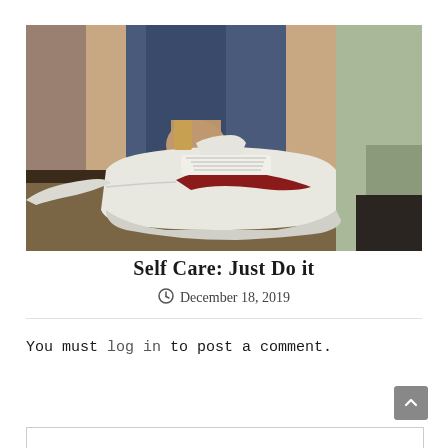[Figure (photo): Close-up photo of a person wearing white Nike Air Force 1 sneakers with a red swoosh, standing on a carpet floor, with denim jeans and another person's light green jacket visible in the background.]
Self Care: Just Do it
December 18, 2019
You must log in to post a comment.